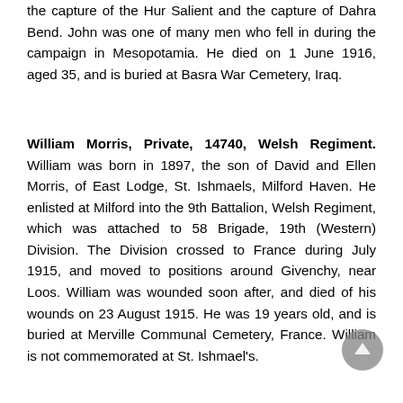the capture of the Hur Salient and the capture of Dahra Bend. John was one of many men who fell in during the campaign in Mesopotamia. He died on 1 June 1916, aged 35, and is buried at Basra War Cemetery, Iraq.
William Morris, Private, 14740, Welsh Regiment. William was born in 1897, the son of David and Ellen Morris, of East Lodge, St. Ishmaels, Milford Haven. He enlisted at Milford into the 9th Battalion, Welsh Regiment, which was attached to 58 Brigade, 19th (Western) Division. The Division crossed to France during July 1915, and moved to positions around Givenchy, near Loos. William was wounded soon after, and died of his wounds on 23 August 1915. He was 19 years old, and is buried at Merville Communal Cemetery, France. William is not commemorated at St. Ishmael's.